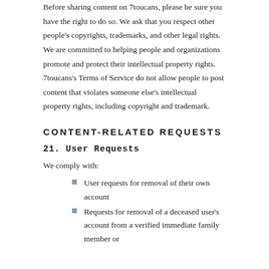Before sharing content on 7toucans, please be sure you have the right to do so. We ask that you respect other people's copyrights, trademarks, and other legal rights. We are committed to helping people and organizations promote and protect their intellectual property rights. 7toucans's Terms of Service do not allow people to post content that violates someone else's intellectual property rights, including copyright and trademark.
CONTENT-RELATED REQUESTS
21. User Requests
We comply with:
User requests for removal of their own account
Requests for removal of a deceased user's account from a verified immediate family member or